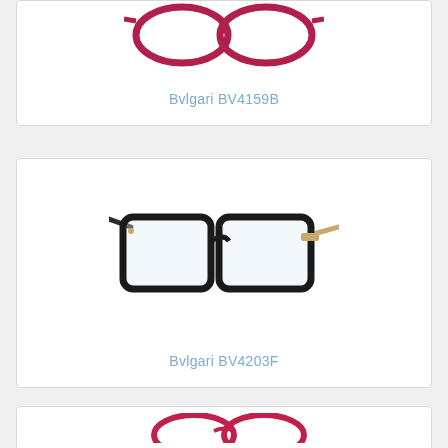[Figure (photo): Product photo of Bvlgari BV4159B eyeglasses in red/burgundy color, shown from front angle]
Bvlgari BV4159B
[Figure (photo): Product photo of Bvlgari BV4203F eyeglasses in black with gold temples, shown from front angle]
Bvlgari BV4203F
[Figure (photo): Partial product card for another Bvlgari eyeglasses model, cropped at bottom of page]